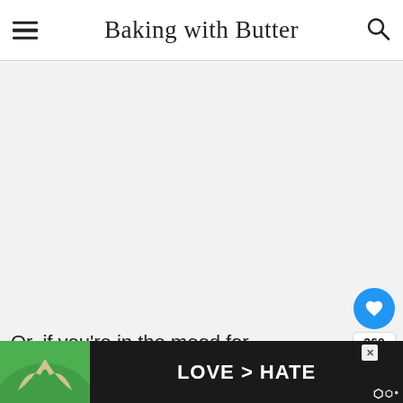Baking with Butter
[Figure (photo): Large light gray placeholder image area for a recipe photo]
[Figure (infographic): Social share sidebar with heart button showing 360 likes and a share button]
[Figure (infographic): What's Next widget showing a thumbnail and text 'Soft Snickerdood...']
Or, if you're in the mood for pancakes
[Figure (screenshot): Advertisement banner showing 'LOVE > HATE' with hands making a heart shape over green background, with close X button and logo]